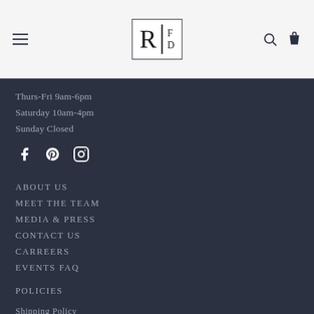RFD logo with hamburger menu and search/cart icons
Thurs-Fri 9am-6pm
Saturday 10am-4pm
Sunday Closed
[Figure (illustration): Social media icons: Facebook, Pinterest, Instagram]
ABOUT US
MEET THE TEAM
MEDIA & PRESS
CONTACT US
CARREERS
EVENTS FAQ
POLICIES
Shipping Policy
Returns and Refunds
Privacy and Cookies